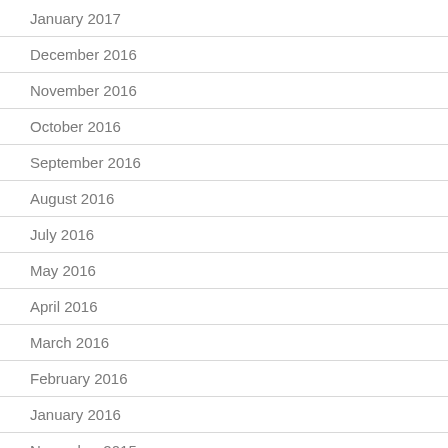January 2017
December 2016
November 2016
October 2016
September 2016
August 2016
July 2016
May 2016
April 2016
March 2016
February 2016
January 2016
November 2015